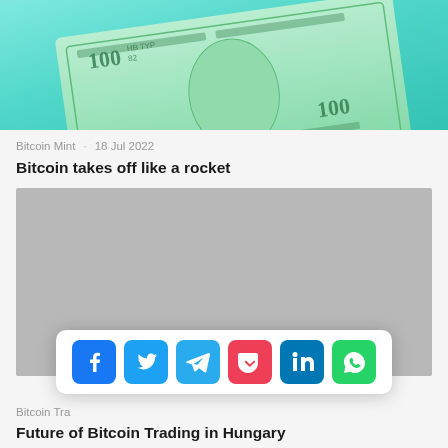[Figure (photo): Photo of US dollar bills with teal/cyan colorized background effect]
Bitcoin Mint   18 Jul 2022
Bitcoin takes off like a rocket
[Figure (other): Gray advertisement placeholder block]
[Figure (infographic): Social sharing bar with icons: Facebook, Twitter, Telegram, Pocket, LinkedIn, WhatsApp]
Bitcoin Tra
Future of Bitcoin Trading in Hungary